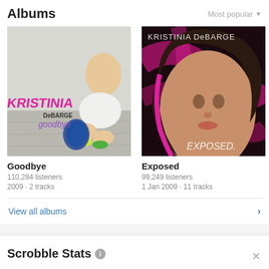Albums
[Figure (screenshot): Album cover for 'Goodbye' by Kristinia DeBarge — young woman crouching in white outfit with pink/yellow graffiti text]
[Figure (screenshot): Album cover for 'Exposed' by Kristinia DeBarge — close-up portrait with dark hair and pink background, 'EXPOSED' text]
[Figure (screenshot): Partial album cover, cut off on right edge]
Goodbye
110,284 listeners
2009 · 2 tracks
Exposed
99,249 listeners
1 Jan 2009 · 11 tracks
Exp
14,80
1 Jan
View all albums
Scrobble Stats